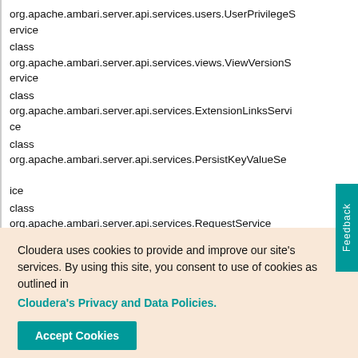org.apache.ambari.server.api.services.users.UserPrivilegeService
class org.apache.ambari.server.api.services.views.ViewVersionService
class org.apache.ambari.server.api.services.ExtensionLinksService
class org.apache.ambari.server.api.services.PersistKeyValueService
class org.apache.ambari.server.api.services.RequestService
Cloudera uses cookies to provide and improve our site's services. By using this site, you consent to use of cookies as outlined in Cloudera's Privacy and Data Policies.
Accept Cookies